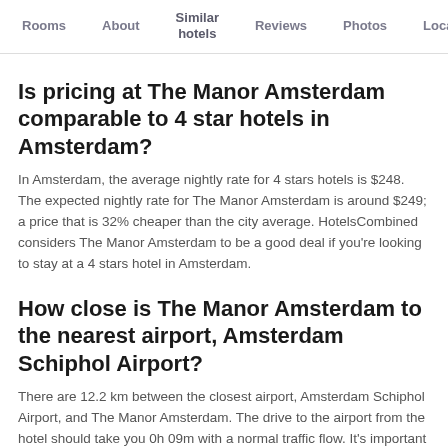Rooms   About   Similar hotels   Reviews   Photos   Loca…
Is pricing at The Manor Amsterdam comparable to 4 star hotels in Amsterdam?
In Amsterdam, the average nightly rate for 4 stars hotels is $248. The expected nightly rate for The Manor Amsterdam is around $249; a price that is 32% cheaper than the city average. HotelsCombined considers The Manor Amsterdam to be a good deal if you're looking to stay at a 4 stars hotel in Amsterdam.
How close is The Manor Amsterdam to the nearest airport, Amsterdam Schiphol Airport?
There are 12.2 km between the closest airport, Amsterdam Schiphol Airport, and The Manor Amsterdam. The drive to the airport from the hotel should take you 0h 09m with a normal traffic flow. It's important to take high traffic times into consideration, especially in metropolitan areas.